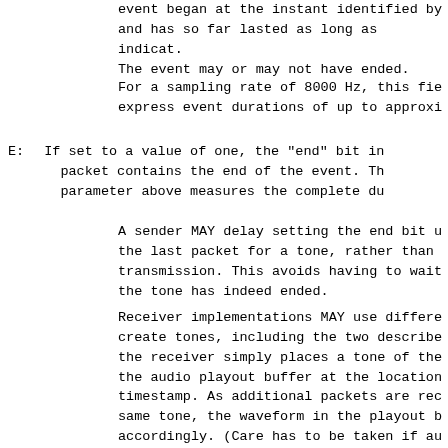event began at the instant identified by and has so far lasted as long as indicat. The event may or may not have ended.
For a sampling rate of 8000 Hz, this fie express event durations of up to approxi
E: If set to a value of one, the "end" bit in packet contains the end of the event. Th parameter above measures the complete du
A sender MAY delay setting the end bit u the last packet for a tone, rather than transmission. This avoids having to wait the tone has indeed ended.
Receiver implementations MAY use differe create tones, including the two describe the receiver simply places a tone of the the audio playout buffer at the location timestamp. As additional packets are rec same tone, the waveform in the playout b accordingly. (Care has to be taken if au summed, in the playout buffer rather tha Thus, if a packet in a tone lasting long interarrival time gets lost and the play gap in the tone may occur. Alternativel start a tone and play it until it receiv "E" bit set, the next tone, distinguisho